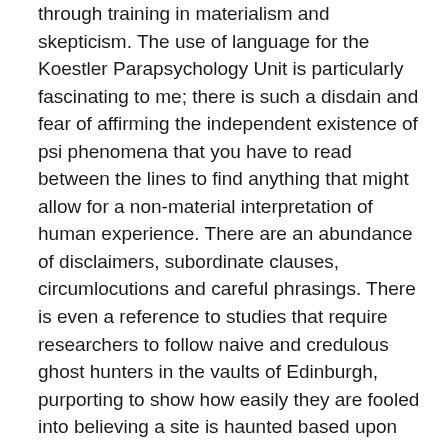through training in materialism and skepticism. The use of language for the Koestler Parapsychology Unit is particularly fascinating to me; there is such a disdain and fear of affirming the independent existence of psi phenomena that you have to read between the lines to find anything that might allow for a non-material interpretation of human experience. There are an abundance of disclaimers, subordinate clauses, circumlocutions and careful phrasings. There is even a reference to studies that require researchers to follow naive and credulous ghost hunters in the vaults of Edinburgh, purporting to show how easily they are fooled into believing a site is haunted based upon magnetic fields and the size and illumination of the vaults.
The operating trope is division. The very name of the University of Virginia's program exemplifies this: the